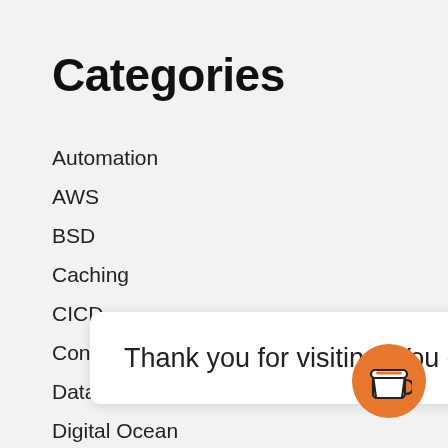Categories
Automation
AWS
BSD
Caching
CICD
Containers
Database
Digital Ocean
gCP
Ha
Ho
Ku
Lin
Logging
Thank you for visiting. You can now buy me a coffee!
[Figure (illustration): Orange circular coffee cup button icon]